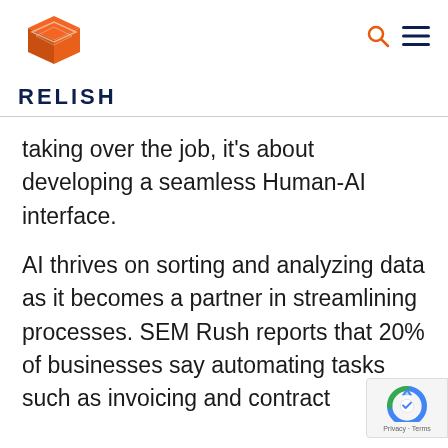[Figure (logo): Relish company logo: orange 3D box icon above the word RELISH in dark navy bold uppercase letters]
taking over the job, it's about developing a seamless Human-AI interface.
AI thrives on sorting and analyzing data as it becomes a partner in streamlining processes. SEM Rush reports that 20% of businesses say automating tasks such as invoicing and contract